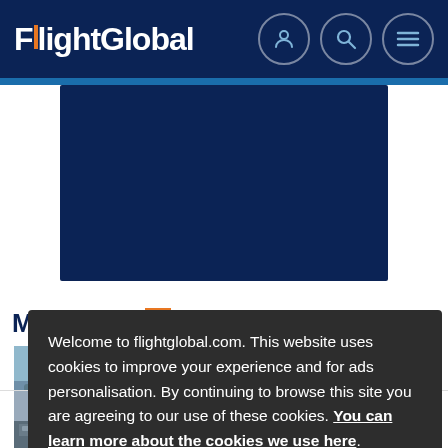FlightGlobal
[Figure (other): Dark navy blue advertisement banner placeholder rectangle]
M...
[Figure (photo): Partial thumbnail image of aircraft on airfield]
Welcome to flightglobal.com. This website uses cookies to improve your experience and for ads personalisation. By continuing to browse this site you are agreeing to our use of these cookies. You can learn more about the cookies we use here.
OK
[Figure (photo): Thumbnail of aircraft lined up on tarmac]
Carriers in Germany stunned by proposed winter mask mandate